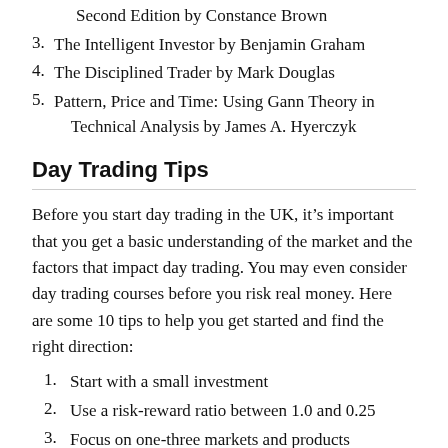Second Edition by Constance Brown
3. The Intelligent Investor by Benjamin Graham
4. The Disciplined Trader by Mark Douglas
5. Pattern, Price and Time: Using Gann Theory in Technical Analysis by James A. Hyerczyk
Day Trading Tips
Before you start day trading in the UK, it’s important that you get a basic understanding of the market and the factors that impact day trading. You may even consider day trading courses before you risk real money. Here are some 10 tips to help you get started and find the right direction:
1. Start with a small investment
2. Use a risk-reward ratio between 1.0 and 0.25
3. Focus on one-three markets and products
4. Try a day trading simulator - Backtest your trading